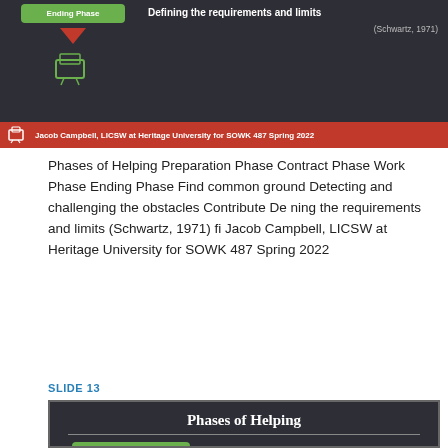[Figure (infographic): Top portion of a slide showing 'Ending Phase' green button with red arrow pointing down, and text 'Defining the requirements and limits (Schwartz, 1971)' on dark background with red footer bar reading 'Jacob Campbell, LICSW at Heritage University for SOWK 487 Spring 2022']
Phases of Helping Preparation Phase Contract Phase Work Phase Ending Phase Find common ground Detecting and challenging the obstacles Contribute Defining the requirements and limits (Schwartz, 1971) fi Jacob Campbell, LICSW at Heritage University for SOWK 487 Spring 2022
SLIDE 13
[Figure (infographic): Bottom portion of slide 13 showing 'Phases of Helping' title in serif bold white text on dark background, with a horizontal divider line, and green phase buttons for 'Preparation Phase' and 'Contract Phase' with red arrows between them]